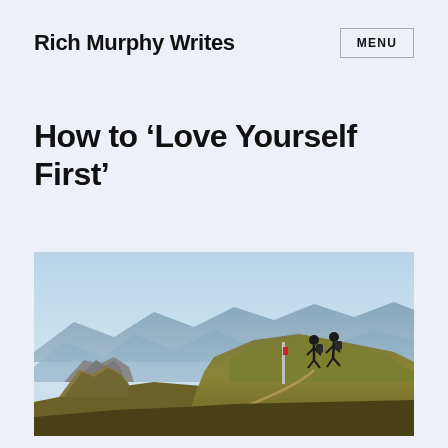Rich Murphy Writes | MENU
How to ‘Love Yourself First’
[Figure (photo): Two hikers silhouetted on top of a grassy mountain ridge with layered blue mountain ranges and a hazy sky in the background. A trail marker pole is visible near the hikers.]